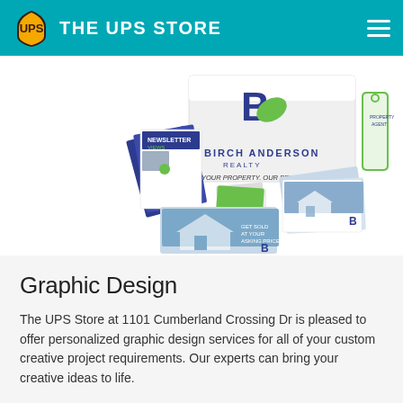THE UPS STORE
[Figure (photo): Marketing materials spread featuring Birch Anderson Realty branded items including brochures, postcards, door hanger, and a box with 'Your Property. Our Priority.' tagline, displayed on white background.]
Graphic Design
The UPS Store at 1101 Cumberland Crossing Dr is pleased to offer personalized graphic design services for all of your custom creative project requirements. Our experts can bring your creative ideas to life.